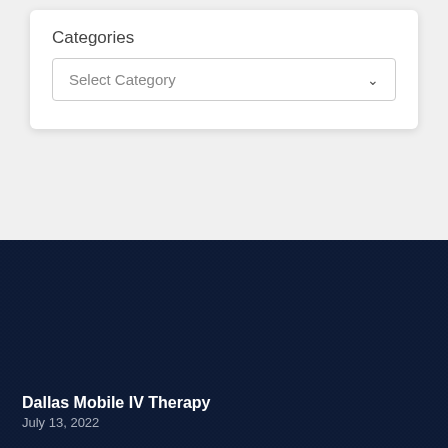Categories
Select Category
Business Listings
Dallas Mobile IV Therapy
July 13, 2022